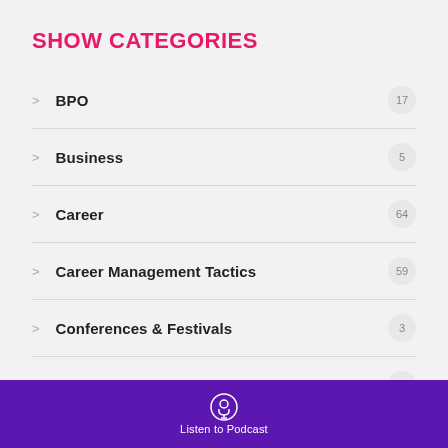SHOW CATEGORIES
BPO  17
Business  5
Career  64
Career Management Tactics  59
Conferences & Festivals  3
Corporate Call Out  3
Dating  3
Listen to Podcast